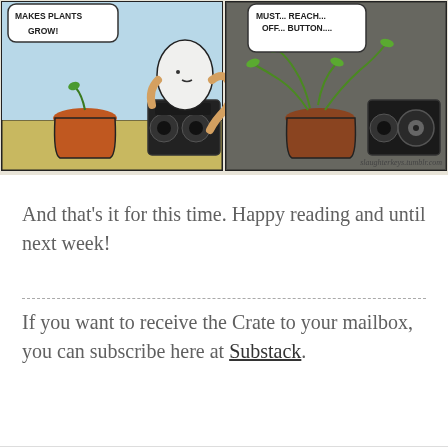[Figure (illustration): A two-panel webcomic from slaughterkeys.tumblr.com. Left panel shows a ghost-like white creature hugging a boombox next to a small potted plant with a speech bubble reading 'MAKES PLANTS GROW!'. Right panel shows the same scene with the plant growing wildly and a speech bubble reading 'MUST... REACH... OFF... BUTTON...']
And that’s it for this time. Happy reading and until next week!
If you want to receive the Crate to your mailbox, you can subscribe here at Substack.